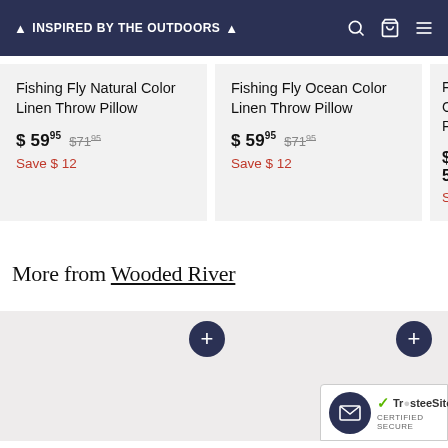Inspired by the Outdoors
Fishing Fly Natural Color Linen Throw Pillow — $ 59.95  $71.95  Save $ 12
Fishing Fly Ocean Color Linen Throw Pillow — $ 59.95  $71.95  Save $ 12
Fishing Fly [Color] Linen Throw Pillow — $ 59  Save $
More from Wooded River
[Figure (other): Three product image tiles with '+' quick-add buttons and a TrustedSite certified secure badge in the lower right corner]